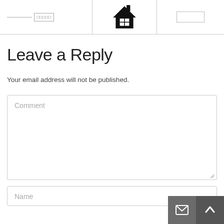[Figure (illustration): Top navigation bar fragment showing a text input stub on the left, a house icon in the center column, and a button stub on the right, separated by vertical lines and a horizontal bottom border.]
Leave a Reply
Your email address will not be published.
[Figure (screenshot): Comment text area input field with placeholder text 'Comment' and a resize handle at the bottom-right corner.]
[Figure (screenshot): Name text input field with placeholder text 'Name'.]
[Figure (screenshot): Two dark gray square buttons in the bottom-right corner: a mail/envelope icon button and an up-arrow/caret button.]